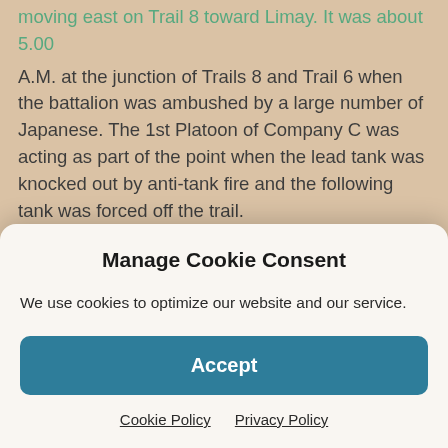moving east on Trail 8 toward Limay. It was about 5.00 A.M. at the junction of Trails 8 and Trail 6 when the battalion was ambushed by a large number of Japanese. The 1st Platoon of Company C was acting as part of the point when the lead tank was knocked out by anti-tank fire and the following tank was forced off the trail.
It was the evening of April 8 that Gen. Edward P. King decided that further resistance was futile, since approximately 25% of his men were healthy enough to fight, and he estimated they would last one more day. In addition, he had over 6,000 troops who were sick or
Manage Cookie Consent
We use cookies to optimize our website and our service.
Accept
Cookie Policy   Privacy Policy